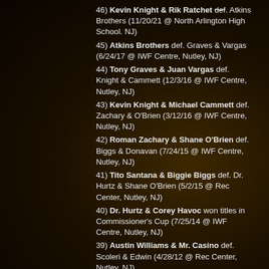46) Kevin Knight & Rik Ratchet def. Atkins Brothers (11/20/21 @ North Arlington High School. NJ)
45) Atkins Brothers def. Graves & Vargas (6/24/17 @ IWF Centre, Nutley, NJ)
44) Tony Graves & Juan Vargas def. Knight & Cammett (12/3/16 @ IWF Centre, Nutley, NJ)
43) Kevin Knight & Michael Cammett def. Zachary & O'Brien (3/12/16 @ IWF Centre, Nutley, NJ)
42) Roman Zachary & Shane O'Brien def. Biggs & Donavan (7/24/15 @ IWF Centre, Nutley, NJ)
41) Tito Santana & Biggie Biggs def. Dr. Hurtz & Shane O'Brien (5/2/15 @ Rec Center, Nutley, NJ)
40) Dr. Hurtz & Corey Havoc won titles in Commissioner's Cup (7/25/14 @ IWF Centre, Nutley, NJ)
39) Austin Williams & Mr. Casino def. Scoleri & Edwin (4/28/12 @ Rec Center, Nutley, NJ)
38) Frank Scoleri & Absolutely Edwin def. Williams & Sterling (10/30/11 @ IWF Centre, W. Park, NJ)
37) Austin Williams & Steven Sterling def.